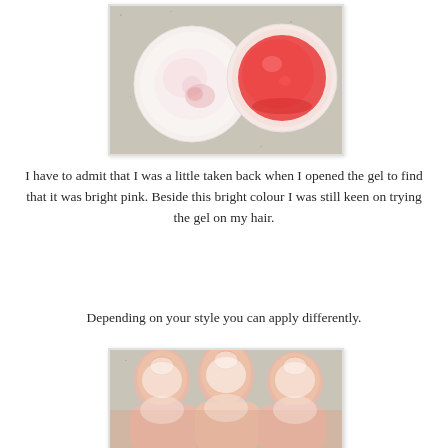[Figure (photo): Two round cups or containers viewed from above on a speckled gray surface. The left cup contains a pale pink/white gel substance. The right cup contains a vivid bright red/pink gel substance.]
I have to admit that I was a little taken back when I opened the gel to find that it was bright pink. Beside this bright colour I was still keen on trying the gel on my hair.
Depending on your style you can apply differently.
[Figure (photo): Close-up photo of fingers (tips) with a clear/white gel substance applied on them, held above a speckled gray surface.]